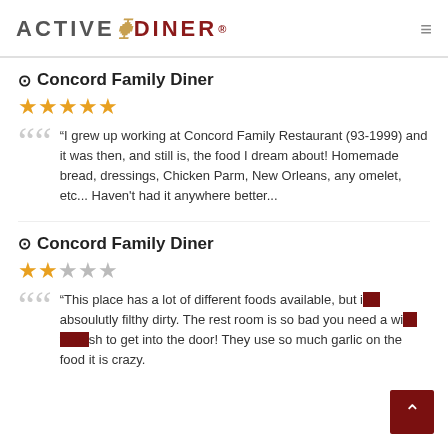ACTIVE DINER
Concord Family Diner
5 stars
“I grew up working at Concord Family Restaurant (93-1999) and it was then, and still is, the food I dream about! Homemade bread, dressings, Chicken Parm, New Orleans, any omelet, etc... Haven't had it anywhere better...
Concord Family Diner
2 stars
“This place has a lot of different foods available, but it absoulutly filthy dirty. The rest room is so bad you need a wish to get into the door! They use so much garlic on the food it is crazy.